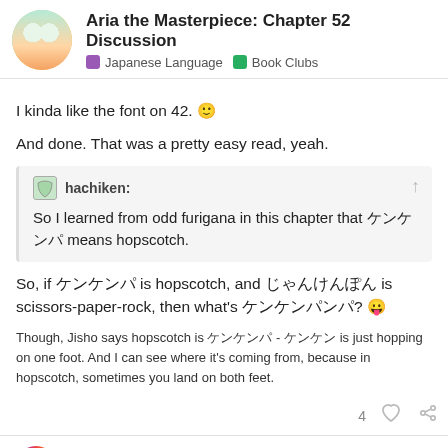Aria the Masterpiece: Chapter 52 Discussion | Japanese Language | Book Clubs
I kinda like the font on 42. 🙂
And done. That was a pretty easy read, yeah.
hachiken: So I learned from odd furigana in this chapter that □□□□ means hopscotch.
So, if □□□□ is hopscotch, and □□□□□ is scissors-paper-rock, then what's □□□□□□? 😛
Though, Jisho says hopscotch is □□□□ - □□□ is just hopping on one foot. And I can see where it's coming from, because in hopscotch, sometimes you land on both feet.
Naphthalene
Ghost of Crabsmas Durtle
1 / 5